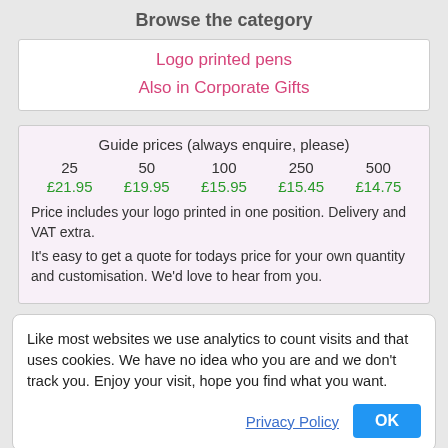Browse the category
Logo printed pens
Also in Corporate Gifts
| 25 | 50 | 100 | 250 | 500 |
| --- | --- | --- | --- | --- |
| £21.95 | £19.95 | £15.95 | £15.45 | £14.75 |
Guide prices (always enquire, please)
Price includes your logo printed in one position. Delivery and VAT extra.
It's easy to get a quote for todays price for your own quantity and customisation. We'd love to hear from you.
Like most websites we use analytics to count visits and that uses cookies. We have no idea who you are and we don't track you. Enjoy your visit, hope you find what you want.
Privacy Policy
OK